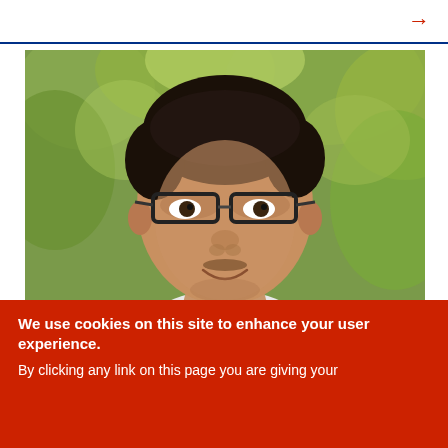→
[Figure (photo): Portrait photo of a middle-aged man with glasses, short dark hair, wearing a white V-neck shirt, smiling, with a green leafy background.]
We use cookies on this site to enhance your user experience.
By clicking any link on this page you are giving your